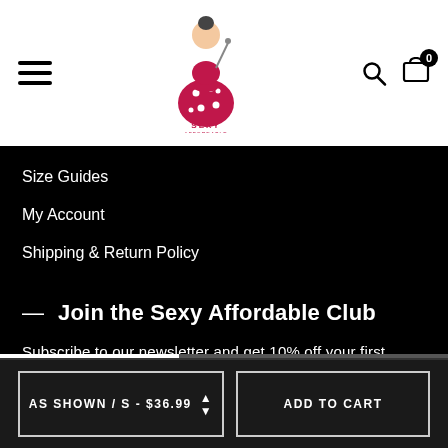[Figure (logo): Sexy Affordable brand logo with illustrated woman in polka-dot dress]
Size Guides
My Account
Shipping & Return Policy
— Join the Sexy Affordable Club
Subscribe to our newsletter and get 10% off your first purchase
Your email address  SIGN ∧
AS SHOWN / S - $36.99 ⬍  ADD TO CART